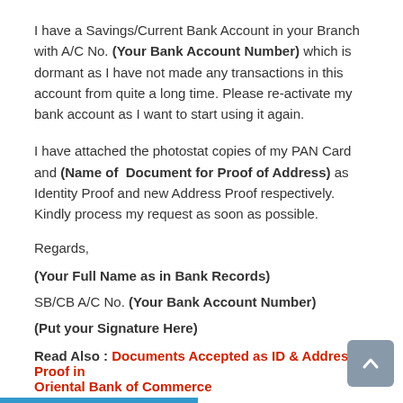I have a Savings/Current Bank Account in your Branch with A/C No. (Your Bank Account Number) which is dormant as I have not made any transactions in this account from quite a long time. Please re-activate my bank account as I want to start using it again.
I have attached the photostat copies of my PAN Card and (Name of Document for Proof of Address) as Identity Proof and new Address Proof respectively. Kindly process my request as soon as possible.
Regards,
(Your Full Name as in Bank Records)
SB/CB A/C No. (Your Bank Account Number)
(Put your Signature Here)
Read Also : Documents Accepted as ID & Address Proof in Oriental Bank of Commerce